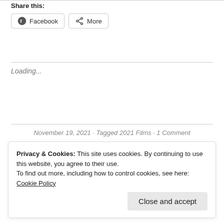Share this:
Facebook  More
Loading...
November 19, 2021 · Tagged 2021 Films · 1 Comment
Privacy & Cookies: This site uses cookies. By continuing to use this website, you agree to their use. To find out more, including how to control cookies, see here: Cookie Policy
Close and accept